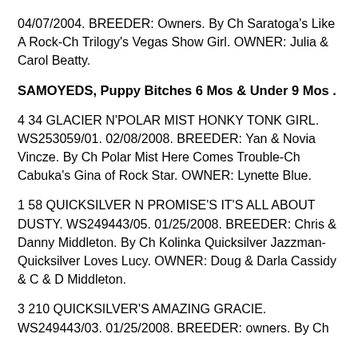04/07/2004. BREEDER: Owners. By Ch Saratoga's Like A Rock-Ch Trilogy's Vegas Show Girl. OWNER: Julia & Carol Beatty.
SAMOYEDS, Puppy Bitches 6 Mos & Under 9 Mos .
4 34 GLACIER N'POLAR MIST HONKY TONK GIRL. WS253059/01. 02/08/2008. BREEDER: Yan & Novia Vincze. By Ch Polar Mist Here Comes Trouble-Ch Cabuka's Gina of Rock Star. OWNER: Lynette Blue.
1 58 QUICKSILVER N PROMISE'S IT'S ALL ABOUT DUSTY. WS249443/05. 01/25/2008. BREEDER: Chris & Danny Middleton. By Ch Kolinka Quicksilver Jazzman-Quicksilver Loves Lucy. OWNER: Doug & Darla Cassidy & C & D Middleton.
3 210 QUICKSILVER'S AMAZING GRACIE. WS249443/03. 01/25/2008. BREEDER: owners. By Ch